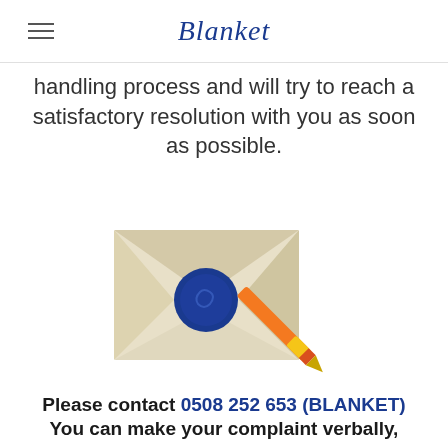Blanket
handling process and will try to reach a satisfactory resolution with you as soon as possible.
[Figure (illustration): Illustration of a sealed envelope with a blue wax seal and a fountain pen/quill resting diagonally across it]
Please contact 0508 252 653 (BLANKET) You can make your complaint verbally,